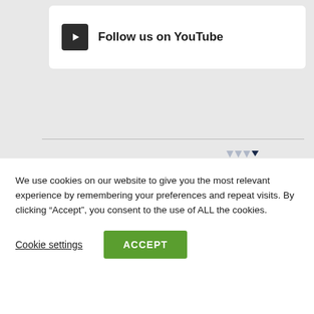[Figure (logo): YouTube follow us button with play icon and text 'Follow us on YouTube']
[Figure (logo): Protis Global People Solutions logo with dark navy text and grey triangles]
Copyright 2020. All rights reserved.
Notice: Most of the content on this page is produced
We use cookies on our website to give you the most relevant experience by remembering your preferences and repeat visits. By clicking “Accept”, you consent to the use of ALL the cookies.
Cookie settings
ACCEPT